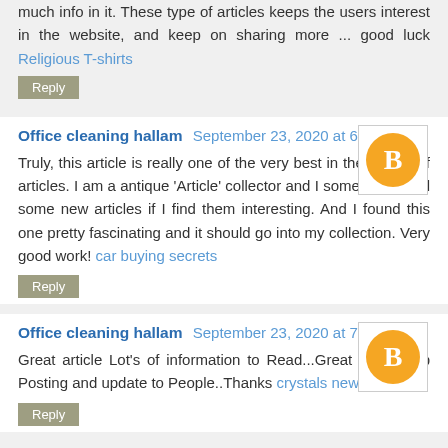much info in it. These type of articles keeps the users interest in the website, and keep on sharing more ... good luck Religious T-shirts
Office cleaning hallam September 23, 2020 at 6:26 AM
Truly, this article is really one of the very best in the history of articles. I am a antique 'Article' collector and I sometimes read some new articles if I find them interesting. And I found this one pretty fascinating and it should go into my collection. Very good work! car buying secrets
Office cleaning hallam September 23, 2020 at 7:03 AM
Great article Lot's of information to Read...Great Man Keep Posting and update to People..Thanks crystals new arrivals